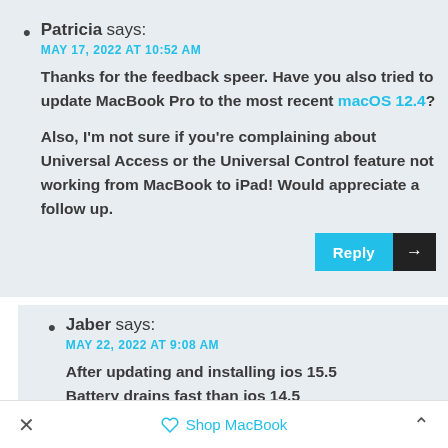Patricia says:
MAY 17, 2022 AT 10:52 AM
Thanks for the feedback speer. Have you also tried to update MacBook Pro to the most recent macOS 12.4?

Also, I'm not sure if you're complaining about Universal Access or the Universal Control feature not working from MacBook to iPad! Would appreciate a follow up.
Jaber says:
MAY 22, 2022 AT 9:08 AM
After updating and installing ios 15.5
Battery drains fast than ios 14.5
Is this a bug for ios 15.5 ?
× Shop MacBook ^